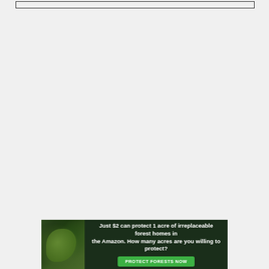[Figure (other): Top border box outline element at top of page]
[Figure (photo): Advertisement banner: forest/Amazon conservation ad. Text reads 'Just $2 can protect 1 acre of irreplaceable forest homes in the Amazon. How many acres are you willing to protect?' with a green 'PROTECT FORESTS NOW' button. Features a dark forest background image with an animal (possibly a sloth or bird) visible on the left side.]